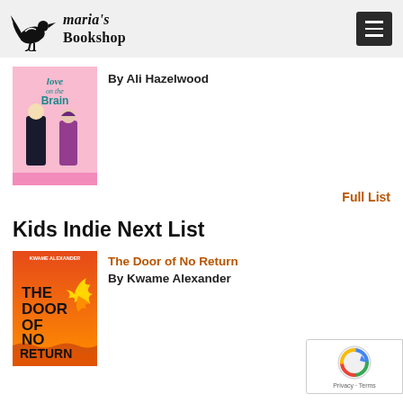Maria's Bookshop
[Figure (illustration): Book cover: Love on the Brain by Ali Hazelwood - illustrated cover showing two characters on pink background with teal/turquoise accents]
By Ali Hazelwood
Full List
Kids Indie Next List
The Door of No Return
By Kwame Alexander
[Figure (illustration): Book cover: The Door of No Return by Kwame Alexander - orange/red cover with large bold text and golden phoenix bird illustration]